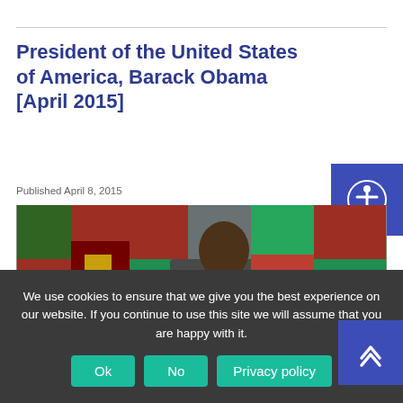President of the United States of America, Barack Obama [April 2015]
Published April 8, 2015
[Figure (photo): Barack Obama seated at a conference table in a grey suit, speaking, with colorful national flags visible in the background.]
We use cookies to ensure that we give you the best experience on our website. If you continue to use this site we will assume that you are happy with it.